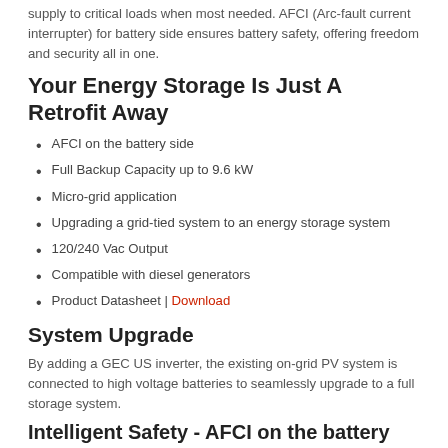supply to critical loads when most needed. AFCI (Arc-fault current interrupter) for battery side ensures battery safety, offering freedom and security all in one.
Your Energy Storage Is Just A Retrofit Away
AFCI on the battery side
Full Backup Capacity up to 9.6 kW
Micro-grid application
Upgrading a grid-tied system to an energy storage system
120/240 Vac Output
Compatible with diesel generators
Product Datasheet | Download
System Upgrade
By adding a GEC US inverter, the existing on-grid PV system is connected to high voltage batteries to seamlessly upgrade to a full storage system.
Intelligent Safety - AFCI on the battery side
GEC Series provides battery side arc detection, protecting battery safety and delivering system efficiency and reliability in extreme conditions.